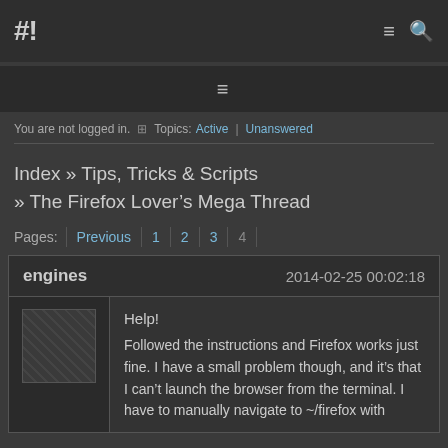#!
≡
You are not logged in. ⊞  Topics: Active | Unanswered
Index » Tips, Tricks & Scripts » The Firefox Lover's Mega Thread
Pages:  Previous  1  2  3  4
engines   2014-02-25 00:02:18
Help!
Followed the instructions and Firefox works just fine. I have a small problem though, and it's that I can't launch the browser from the terminal. I have to manually navigate to ~/firefox with